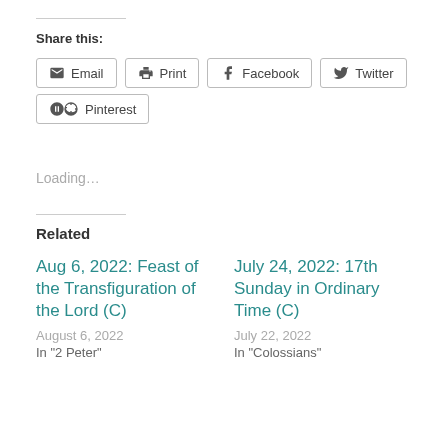Share this:
Email
Print
Facebook
Twitter
Pinterest
Loading...
Related
Aug 6, 2022: Feast of the Transfiguration of the Lord (C)
August 6, 2022
In "2 Peter"
July 24, 2022: 17th Sunday in Ordinary Time (C)
July 22, 2022
In "Colossians"